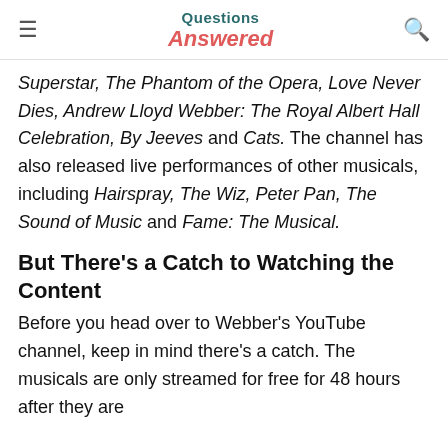Questions Answered
Superstar, The Phantom of the Opera, Love Never Dies, Andrew Lloyd Webber: The Royal Albert Hall Celebration, By Jeeves and Cats. The channel has also released live performances of other musicals, including Hairspray, The Wiz, Peter Pan, The Sound of Music and Fame: The Musical.
But There’s a Catch to Watching the Content
Before you head over to Webber’s YouTube channel, keep in mind there’s a catch. The musicals are only streamed for free for 48 hours after they are